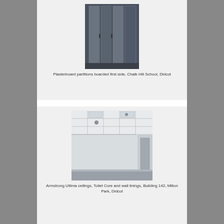[Figure (photo): Plasterboard partitions boarded first side in a school corridor setting]
Plasterboard partitions boarded first side, Chalk Hill School, Didcot
[Figure (photo): Armstrong Ultima ceilings and wall linings in a large open room, toilet core area]
Armstrong Ultima ceilings, Toilet Core and wall linings, Building 142, Milton Park, Didcot